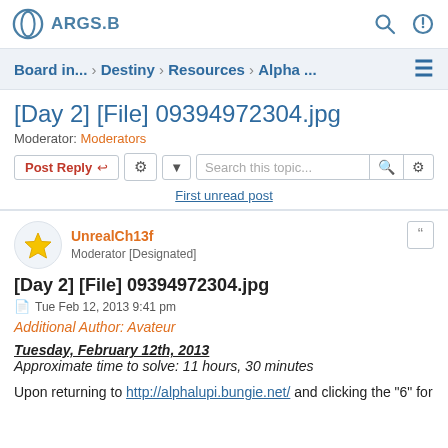ARGS.B
Board in... › Destiny › Resources › Alpha ...
[Day 2] [File] 09394972304.jpg
Moderator: Moderators
Post Reply | [tool] | [dropdown] | Search this topic... | [search] | [settings]
First unread post
UnrealCh13f
Moderator [Designated]
[Day 2] [File] 09394972304.jpg
Tue Feb 12, 2013 9:41 pm
Additional Author: Avateur
Tuesday, February 12th, 2013
Approximate time to solve: 11 hours, 30 minutes
Upon returning to http://alphalupi.bungie.net/ and clicking the "6" for